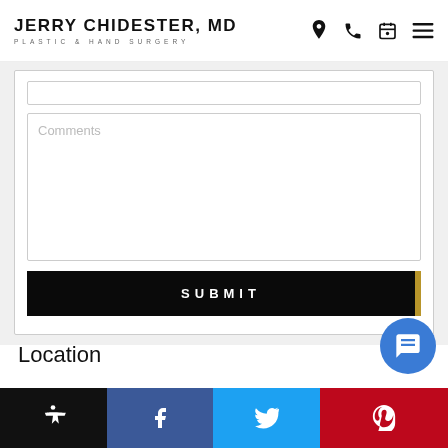JERRY CHIDESTER, MD — PLASTIC & HAND SURGERY
[Figure (screenshot): Web form with a Comments textarea and a SUBMIT button on a dark background with gold right border]
Location
[Figure (infographic): Bottom navigation bar with accessibility icon (black), Facebook icon (dark blue), Twitter icon (blue), Pinterest icon (red)]